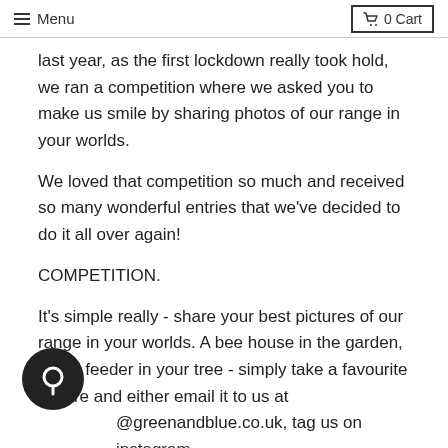≡ Menu   🛒 0 Cart
last year, as the first lockdown really took hold, we ran a competition where we asked you to make us smile by sharing photos of our range in your worlds.
We loved that competition so much and received so many wonderful entries that we've decided to do it all over again!
COMPETITION.
It's simple really - share your best pictures of our range in your worlds. A bee house in the garden, a bird feeder in your tree - simply take a favourite picture and either email it to us at @greenandblue.co.uk, tag us on instagram @greenandblueuk using #makeussmileagain or post to our facebook wall or tag us on twitter.